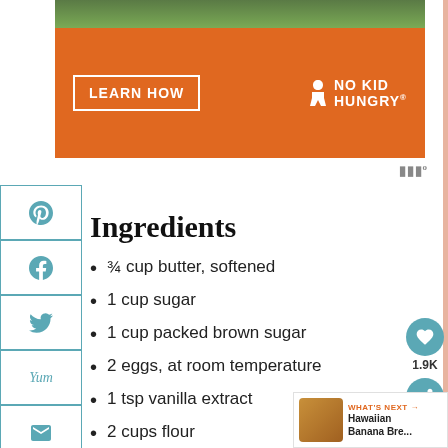[Figure (other): Orange No Kid Hungry advertisement banner with LEARN HOW button and No Kid Hungry logo]
Ingredients
¾ cup butter, softened
1 cup sugar
1 cup packed brown sugar
2 eggs, at room temperature
1 tsp vanilla extract
2 cups flour
1 tsp baking powder
1 tsp baking soda
½ tsp salt
1 cup coconut flakes
3 cups oatmeal (quick or old fashioned)